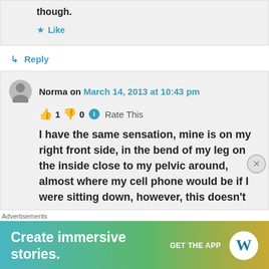though.
★ Like
↳ Reply
Norma on March 14, 2013 at 10:43 pm
👍 1 👎 0 ℹ Rate This
I have the same sensation, mine is on my right front side, in the bend of my leg on the inside close to my pelvic around, almost where my cell phone would be if I were sitting down, however, this doesn't
Advertisements
[Figure (screenshot): WordPress advertisement banner: 'Create immersive stories. GET THE APP' with WordPress logo]